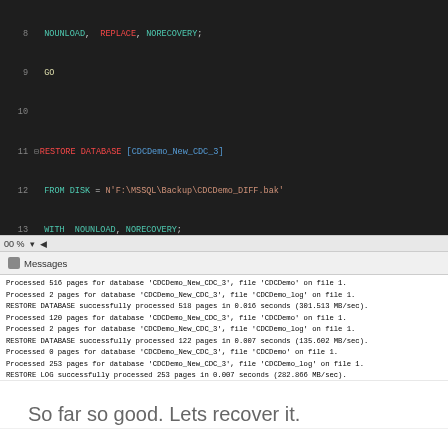[Figure (screenshot): SQL Server Management Studio code editor showing RESTORE DATABASE and RESTORE LOG T-SQL statements for CDCDemo_New_CDC_3 database, lines 8-24, dark theme]
[Figure (screenshot): SQL Server Management Studio Messages panel showing output of database restore operations with page counts, processing times, and MB/sec rates]
So far so good. Lets recover it.
[Figure (screenshot): SQL Server Management Studio code editor showing lines 1-3 of recovery script: comment '-- Recover the database', RESTORE DATABASE [CDCDemo_New_CDC_3], WITH RECOVERY, KEEP_CDC;]